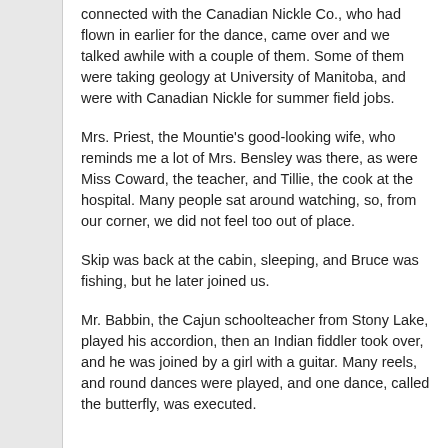connected with the Canadian Nickle Co., who had flown in earlier for the dance, came over and we talked awhile with a couple of them. Some of them were taking geology at University of Manitoba, and were with Canadian Nickle for summer field jobs.
Mrs. Priest, the Mountie's good-looking wife, who reminds me a lot of Mrs. Bensley was there, as were Miss Coward, the teacher, and Tillie, the cook at the hospital. Many people sat around watching, so, from our corner, we did not feel too out of place.
Skip was back at the cabin, sleeping, and Bruce was fishing, but he later joined us.
Mr. Babbin, the Cajun schoolteacher from Stony Lake, played his accordion, then an Indian fiddler took over, and he was joined by a girl with a guitar. Many reels, and round dances were played, and one dance, called the butterfly, was executed.